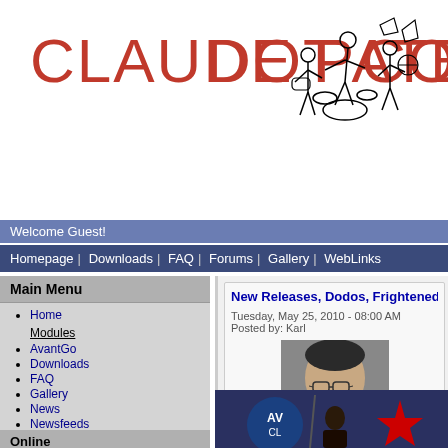CLAUDE PATE DOT CO
[Figure (illustration): Line drawing sketch of a band with guitarist, drummer, and other musicians]
Welcome Guest!
Homepage | Downloads | FAQ | Forums | Gallery | WebLinks
Main Menu
Home
Modules
AvantGo
Downloads
FAQ
Gallery
News
Newsfeeds
Recommend Us
Reviews
Search
Sections
Stats
Topics
Top List
Web Links
Online
New Releases, Dodos, Frightened Rabbi
Tuesday, May 25, 2010 - 08:00 AM
Posted by: Karl
[Figure (photo): Headshot photo of a man with dark hair and glasses wearing a dark jacket]
[Figure (photo): Concert photo with AVCl logo/drum and a red star, appears to be Chicago-themed]